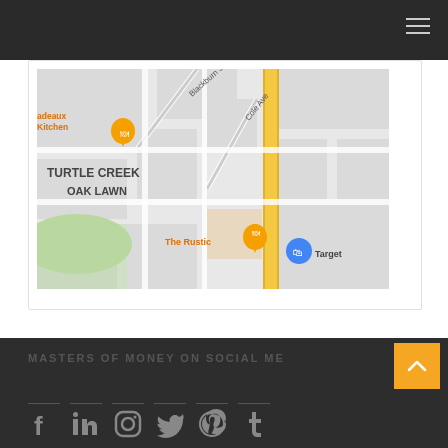[Figure (map): Google Maps screenshot showing Turtle Creek / Oak Lawn neighborhood in Dallas, TX. Shows streets including Blackburn St and Cole Ave, with restaurant markers for 'adeaux Kitchen' (partial name, orange pin) and 'The Rustic' (orange pin), and a blue Target marker. The area labels TURTLE CREEK and OAK LAWN are visible.]
MASTERS OF MONEY ON SOCIAL ME...
[Figure (infographic): Social media icons row: Facebook, LinkedIn, Instagram, Twitter/X, Pinterest, Tumblr. White icons on dark background with thin horizontal separator lines above each.]